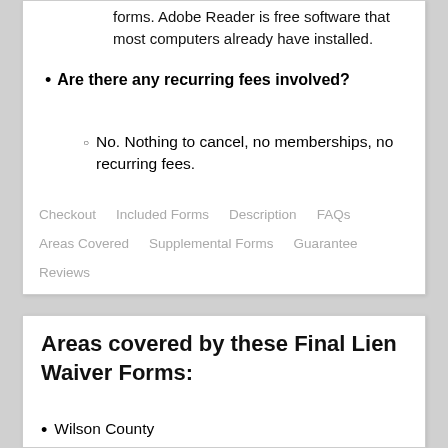forms. Adobe Reader is free software that most computers already have installed.
Are there any recurring fees involved?
No. Nothing to cancel, no memberships, no recurring fees.
Checkout   Included Forms   Description   FAQs   Areas Covered   Supplemental Forms   Guarantee   Reviews
Areas covered by these Final Lien Waiver Forms:
Wilson County